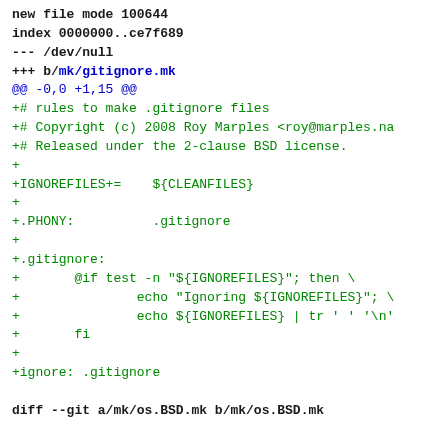new file mode 100644
index 0000000..ce7f689
--- /dev/null
+++ b/mk/gitignore.mk
@@ -0,0 +1,15 @@
+# rules to make .gitignore files
+# Copyright (c) 2008 Roy Marples <roy@marples.na
+# Released under the 2-clause BSD license.
+
+IGNOREFILES+=    ${CLEANFILES}
+
+.PHONY:          .gitignore
+
+.gitignore:
+       @if test -n "${IGNOREFILES}"; then \
+               echo "Ignoring ${IGNOREFILES}"; \
+               echo ${IGNOREFILES} | tr ' ' '\n'
+       fi
+
+ignore: .gitignore

diff --git a/mk/os.BSD.mk b/mk/os.BSD.mk